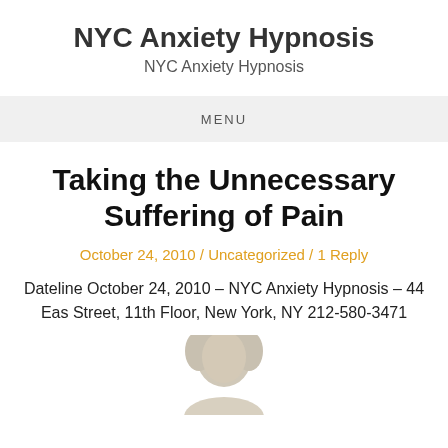NYC Anxiety Hypnosis
NYC Anxiety Hypnosis
MENU
Taking the Unnecessary Suffering of Pain
October 24, 2010 / Uncategorized / 1 Reply
Dateline October 24, 2010 – NYC Anxiety Hypnosis – 44 East Street, 11th Floor, New York, NY 212-580-3471
[Figure (photo): Partial photo of a person with gray/white hair, cropped at bottom of page]